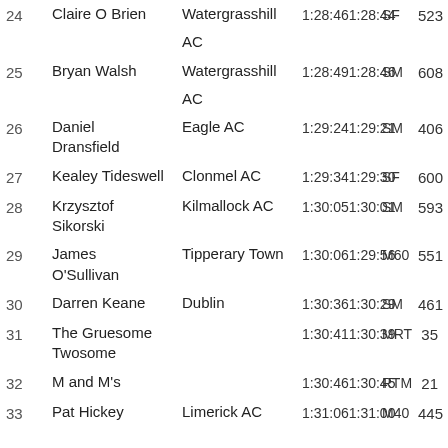| Pos | Name | Club | Gun Time | Chip Time | Cat | Bib |
| --- | --- | --- | --- | --- | --- | --- |
| 24 | Claire O Brien | Watergrasshill AC | 1:28:46 | 1:28:44 | SF | 523 |
| 25 | Bryan Walsh | Watergrasshill AC | 1:28:49 | 1:28:46 | SM | 608 |
| 26 | Daniel Dransfield | Eagle AC | 1:29:24 | 1:29:21 | SM | 406 |
| 27 | Kealey Tideswell | Clonmel AC | 1:29:34 | 1:29:30 | SF | 600 |
| 28 | Krzysztof Sikorski | Kilmallock AC | 1:30:05 | 1:30:01 | SM | 593 |
| 29 | James O'Sullivan | Tipperary Town | 1:30:06 | 1:29:56 | M60 | 551 |
| 30 | Darren Keane | Dublin | 1:30:36 | 1:30:29 | SM | 461 |
| 31 | The Gruesome Twosome |  | 1:30:41 | 1:30:39 | MRT | 35 |
| 32 | M and M's |  | 1:30:46 | 1:30:45 | RTM | 21 |
| 33 | Pat Hickey | Limerick AC | 1:31:06 | 1:31:00 | M40 | 445 |